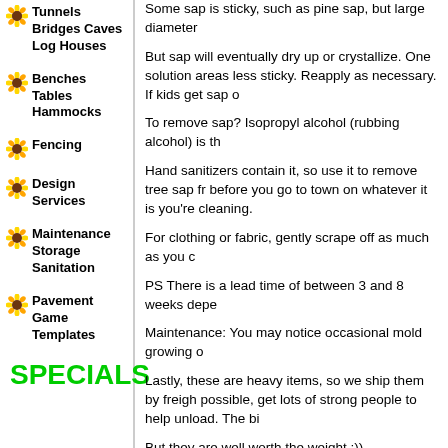Tunnels Bridges Caves Log Houses
Benches Tables Hammocks
Fencing
Design Services
Maintenance Storage Sanitation
Pavement Game Templates
SPECIALS
Some sap is sticky, such as pine sap, but large diameter
But sap will eventually dry up or crystallize. One solution areas less sticky. Reapply as necessary. If kids get sap o
To remove sap? Isopropyl alcohol (rubbing alcohol) is th
Hand sanitizers contain it, so use it to remove tree sap fr before you go to town on whatever it is you're cleaning.
For clothing or fabric, gently scrape off as much as you c
PS There is a lead time of between 3 and 8 weeks depe
Maintenance: You may notice occasional mold growing o
Lastly, these are heavy items, so we ship them by freigh possible, get lots of strong people to help unload. The bi
But they are well worth the weight :))
[Figure (photo): Photo of mossy or leafy natural material, appears to be a close-up of a log or natural wood surface covered with moss/lichen]